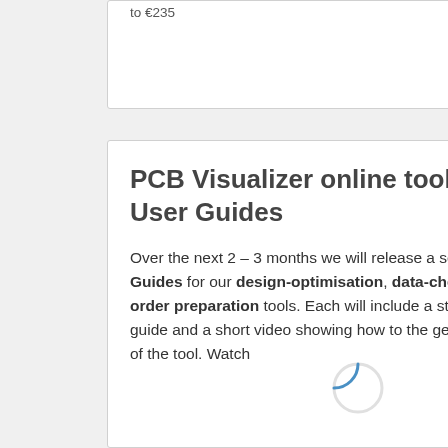to €235
PCB Visualizer online tools – new User Guides
Over the next 2 – 3 months we will release a series of User Guides for our design-optimisation, data-checking and order preparation tools. Each will include a step by step guide and a short video showing how to the get the best out of the tool. Watch
[Figure (other): Loading spinner circle, partially visible, blue arc on white background]